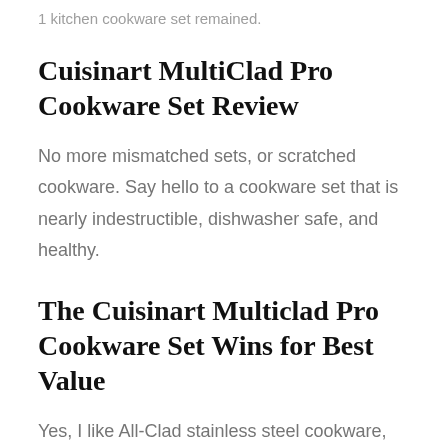1 kitchen cookware set remained.
Cuisinart MultiClad Pro Cookware Set Review
No more mismatched sets, or scratched cookware. Say hello to a cookware set that is nearly indestructible, dishwasher safe, and healthy.
The Cuisinart Multiclad Pro Cookware Set Wins for Best Value
Yes, I like All-Clad stainless steel cookware, but when one can get near All-Clad performance for a fraction of the cost, that is a great value. I have